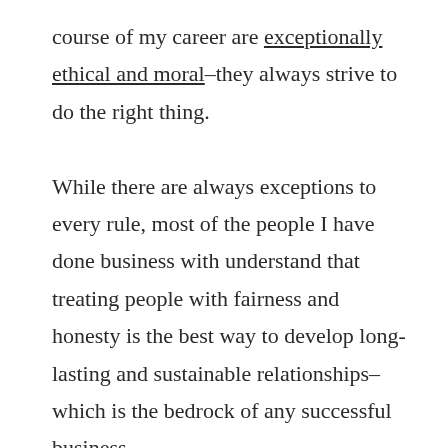course of my career are exceptionally ethical and moral–they always strive to do the right thing.

While there are always exceptions to every rule, most of the people I have done business with understand that treating people with fairness and honesty is the best way to develop long-lasting and sustainable relationships–which is the bedrock of any successful business.